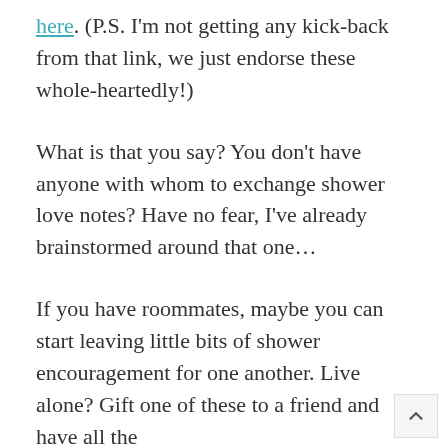here. (P.S. I'm not getting any kick-back from that link, we just endorse these whole-heartedly!)
What is that you say? You don't have anyone with whom to exchange shower love notes? Have no fear, I've already brainstormed around that one…
If you have roommates, maybe you can start leaving little bits of shower encouragement for one another. Live alone? Gift one of these to a friend and have all the